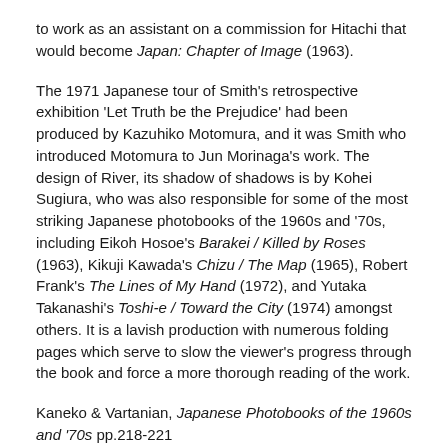to work as an assistant on a commission for Hitachi that would become Japan: Chapter of Image (1963).
The 1971 Japanese tour of Smith's retrospective exhibition 'Let Truth be the Prejudice' had been produced by Kazuhiko Motomura, and it was Smith who introduced Motomura to Jun Morinaga's work. The design of River, its shadow of shadows is by Kohei Sugiura, who was also responsible for some of the most striking Japanese photobooks of the 1960s and '70s, including Eikoh Hosoe's Barakei / Killed by Roses (1963), Kikuji Kawada's Chizu / The Map (1965), Robert Frank's The Lines of My Hand (1972), and Yutaka Takanashi's Toshi-e / Toward the City (1974) amongst others. It is a lavish production with numerous folding pages which serve to slow the viewer's progress through the book and force a more thorough reading of the work.
Kaneko & Vartanian, Japanese Photobooks of the 1960s and '70s pp.218-221